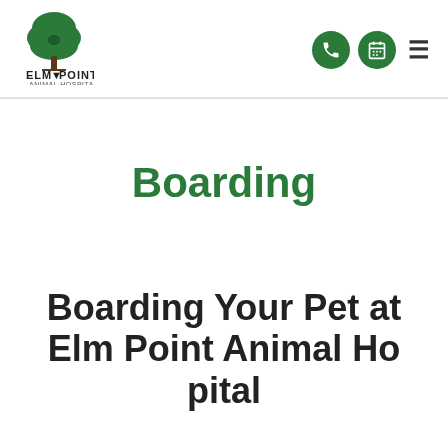[Figure (logo): Elm Point Animal Hospital logo with green tree and text]
Boarding
Boarding Your Pet at Elm Point Animal Hospital